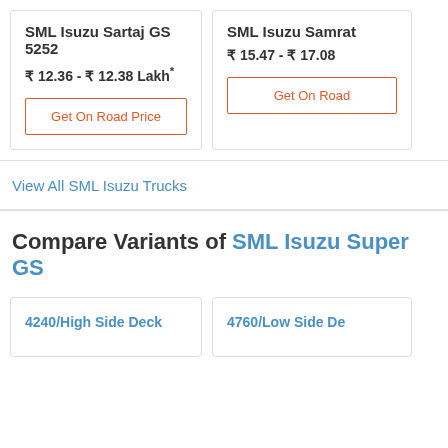SML Isuzu Sartaj GS 5252
₹ 12.36 - ₹ 12.38 Lakh*
Get On Road Price
SML Isuzu Samrat
₹ 15.47 - ₹ 17.08
Get On Road
View All SML Isuzu Trucks
Compare Variants of SML Isuzu Super GS
4240/High Side Deck
4760/Low Side De